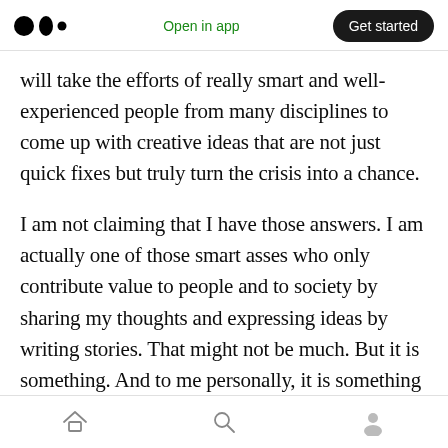Medium logo | Open in app | Get started
will take the efforts of really smart and well-experienced people from many disciplines to come up with creative ideas that are not just quick fixes but truly turn the crisis into a chance.
I am not claiming that I have those answers. I am actually one of those smart asses who only contribute value to people and to society by sharing my thoughts and expressing ideas by writing stories. That might not be much. But it is something. And to me personally, it is something that creates value and pleasure. I think, if governments invest a lot of money into the
Home | Search | Profile